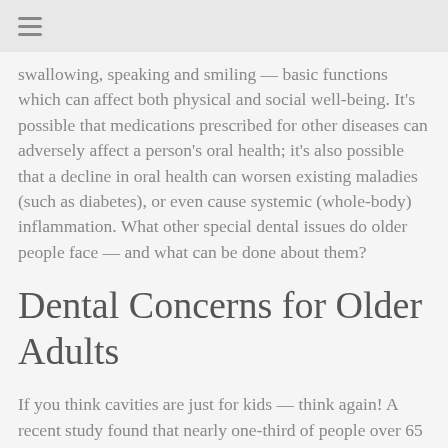≡
swallowing, speaking and smiling — basic functions which can affect both physical and social well-being. It's possible that medications prescribed for other diseases can adversely affect a person's oral health; it's also possible that a decline in oral health can worsen existing maladies (such as diabetes), or even cause systemic (whole-body) inflammation. What other special dental issues do older people face — and what can be done about them?
Dental Concerns for Older Adults
If you think cavities are just for kids — think again! A recent study found that nearly one-third of people over 65 had untreated dental caries (cavities). In older people, these are found not only in the crown (chewing surface) of the tooth, but also in the root, which may become exposed due to gum recession